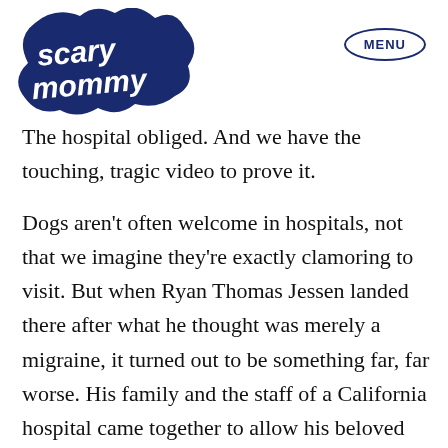Scary Mommy | MENU
The hospital obliged. And we have the touching, tragic video to prove it.
Dogs aren’t often welcome in hospitals, not that we imagine they’re exactly clamoring to visit. But when Ryan Thomas Jessen landed there after what he thought was merely a migraine, it turned out to be something far, far worse. His family and the staff of a California hospital came together to allow his beloved dog, Mollie, one last visit.